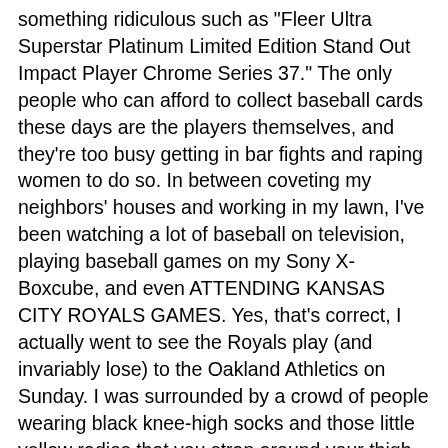something ridiculous such as "Fleer Ultra Superstar Platinum Limited Edition Stand Out Impact Player Chrome Series 37." The only people who can afford to collect baseball cards these days are the players themselves, and they're too busy getting in bar fights and raping women to do so. In between coveting my neighbors' houses and working in my lawn, I've been watching a lot of baseball on television, playing baseball games on my Sony X-Boxcube, and even ATTENDING KANSAS CITY ROYALS GAMES. Yes, that's correct, I actually went to see the Royals play (and invariably lose) to the Oakland Athletics on Sunday. I was surrounded by a crowd of people wearing black knee-high socks and those little yellow radios that you strap around your thigh so you may listen to the AM radio broadcast as the game progresses. The only consolation I can possibly derive from this traumatic experience is the fact that, amongst all the people seated around me, I was the person yelling the most incoherent and nonsensical garbage. I continuously shouted "BRING BACK MELIDO PEREZ!!!" as loud as I could, because next to Otis Nixon, Melido Perez was the ugliest man in baseball (and briefly pitched for the Royals in 1988 before they traded him to the